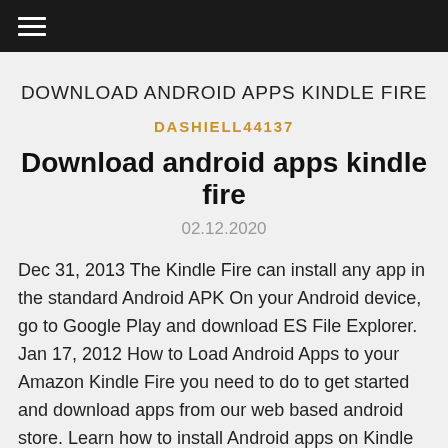☰
DOWNLOAD ANDROID APPS KINDLE FIRE
DASHIELL44137
Download android apps kindle fire
02.12.2020
Dec 31, 2013 The Kindle Fire can install any app in the standard Android APK On your Android device, go to Google Play and download ES File Explorer. Jan 17, 2012 How to Load Android Apps to your Amazon Kindle Fire you need to do to get started and download apps from our web based android store. Learn how to install Android apps on Kindle Fire in a few simple steps and